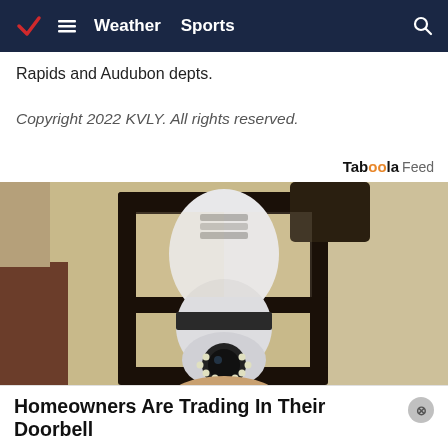Weather  Sports
Rapids and Audubon depts.
Copyright 2022 KVLY. All rights reserved.
Taboola Feed
[Figure (photo): A white security camera shaped like a light bulb installed inside a traditional black outdoor wall lantern fixture mounted on a textured stucco wall.]
Homeowners Are Trading In Their Doorbell